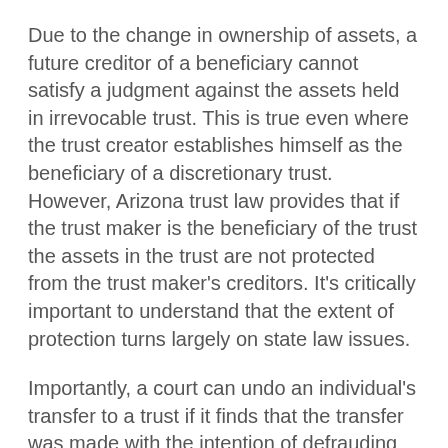Due to the change in ownership of assets, a future creditor of a beneficiary cannot satisfy a judgment against the assets held in irrevocable trust. This is true even where the trust creator establishes himself as the beneficiary of a discretionary trust. However, Arizona trust law provides that if the trust maker is the beneficiary of the trust the assets in the trust are not protected from the trust maker's creditors. It's critically important to understand that the extent of protection turns largely on state law issues.
Importantly, a court can undo an individual's transfer to a trust if it finds that the transfer was made with the intention of defrauding creditors. These transfers are considered fraudulent, and in many cases carry significant legal penalties. This is why it is important to practice asset protection planning well before you even anticipate being the subject of any liability